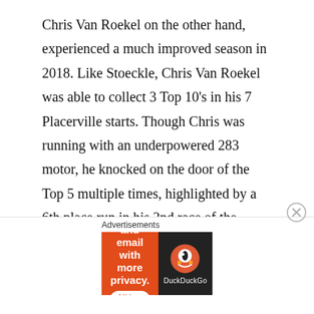Chris Van Roekel on the other hand, experienced a much improved season in 2018. Like Stoeckle, Chris Van Roekel was able to collect 3 Top 10’s in his 7 Placerville starts. Though Chris was running with an underpowered 283 motor, he knocked on the door of the Top 5 multiple times, highlighted by a 6th place run in his 2nd race of the season. After the July 4th, the team switched their attention to running Marysville, and the change brought some much needed success. The first 2 races didn’t go to plan, including a 2nd place DQ after being short on vacuum by half an inch. After the Dq, Chris came
Advertisements
[Figure (other): DuckDuckGo advertisement banner: orange left panel with text 'Search, browse, and email with more privacy. All in One Free App' and dark right panel with DuckDuckGo logo and name.]